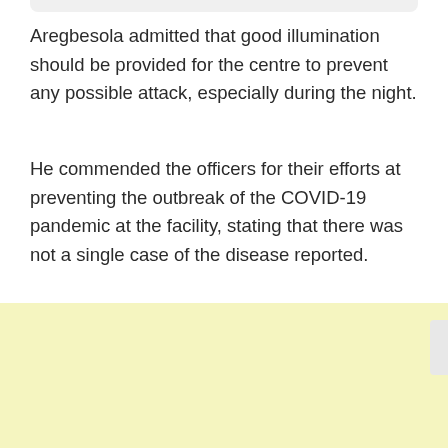Aregbesola admitted that good illumination should be provided for the centre to prevent any possible attack, especially during the night.
He commended the officers for their efforts at preventing the outbreak of the COVID-19 pandemic at the facility, stating that there was not a single case of the disease reported.
The minister, however, appealed to the custodial officers to use their training and exposure to reform inmates, so that they could come out better than